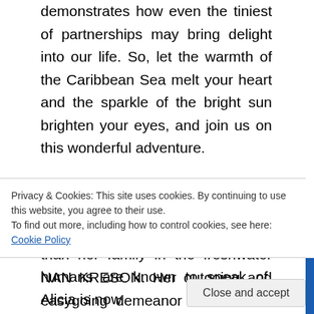demonstrates how even the tiniest of partnerships may bring delight into our life. So, let the warmth of the Caribbean Sea melt your heart and the sparkle of the bright sun brighten your eyes, and join us on this wonderful adventure.
Alicia, a 13-year-old girl from the village of KORAY in the town of Cayes Jacmel, is more extroverted than her family in the freshwater NAN KRESON. Her outgoing and easygoing demeanor has allowed her to interact with
Privacy & Cookies: This site uses cookies. By continuing to use this website, you agree to their use.
To find out more, including how to control cookies, see here: Cookie Policy
humans are known to speak of, Alicia is now